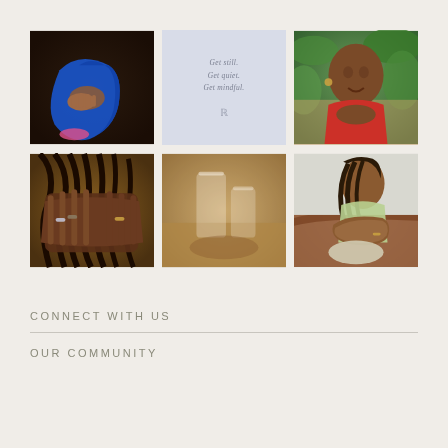[Figure (photo): Six-image grid layout. Top row: (1) person in blue dress seated on floor, (2) light blue/lavender card with italic text 'Get still. Get quiet. Get mindful.' and a small logo, (3) smiling woman in red top with plants in background. Bottom row: (4) woman with braids covering face with hands, (5) blurry close-up of glass containers on a table, (6) young woman in light green top seated on brown leather surface.]
CONNECT WITH US
OUR COMMUNITY